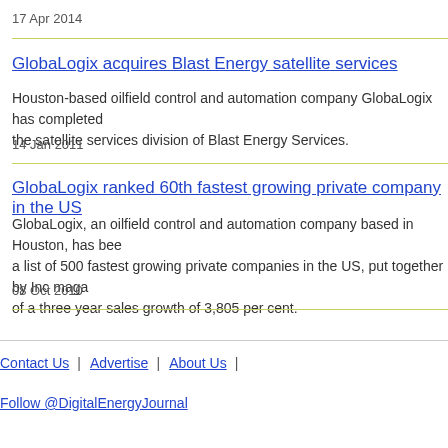17 Apr 2014
GlobaLogix acquires Blast Energy satellite services
Houston-based oilfield control and automation company GlobaLogix has completed the satellite services division of Blast Energy Services.
14 Jan 2011
GlobaLogix ranked 60th fastest growing private company in the US
GlobaLogix, an oilfield control and automation company based in Houston, has been a list of 500 fastest growing private companies in the US, put together by Inc maga of a three year sales growth of 3,805 per cent.
08 Oct 2010
Contact Us | Advertise | About Us | Follow @DigitalEnergyJournal